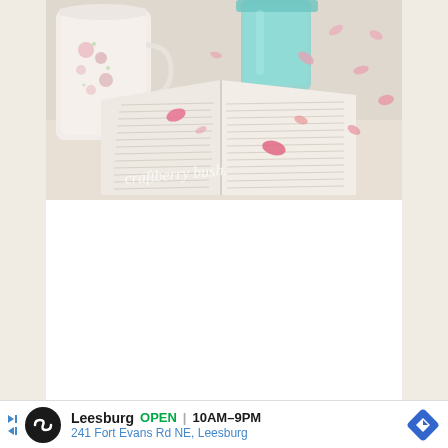[Figure (photo): A lifestyle/aesthetic photograph showing an open book with small pink rose petals scattered across its pages, a floral-patterned white ceramic mug on the left, and a teal/turquoise glass jar in the background. The image has a soft, light, airy quality. A watermark reading 'craftberry bush.' is visible in cursive script at the bottom center of the image.]
[Figure (infographic): An advertisement bar for Leesburg. Shows a black circle logo with an infinity-like symbol, text reading 'Leesburg OPEN | 10AM-9PM' and '241 Fort Evans Rd NE, Leesburg', a blue navigation/directions diamond icon on the right, and skip ad arrows on the left.]